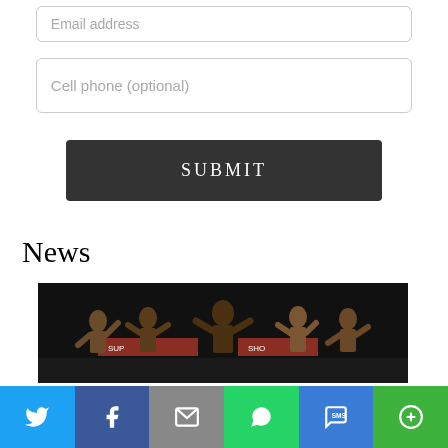Email address
Cell phone (optional)
SUBMIT
News
[Figure (photo): Group of male bodybuilders posing on stage in front of a dark background with 'SUPER SHOW' banner visible]
[Figure (infographic): Social sharing bar with Twitter, Facebook, Email, WhatsApp, SMS, and More buttons]